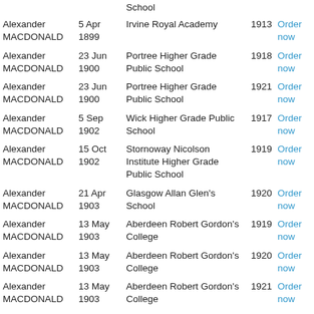| Name | Date | School | Year |  |
| --- | --- | --- | --- | --- |
| Alexander MACDONALD | 5 Apr 1899 | Irvine Royal Academy | 1913 | Order now |
| Alexander MACDONALD | 23 Jun 1900 | Portree Higher Grade Public School | 1918 | Order now |
| Alexander MACDONALD | 23 Jun 1900 | Portree Higher Grade Public School | 1921 | Order now |
| Alexander MACDONALD | 5 Sep 1902 | Wick Higher Grade Public School | 1917 | Order now |
| Alexander MACDONALD | 15 Oct 1902 | Stornoway Nicolson Institute Higher Grade Public School | 1919 | Order now |
| Alexander MACDONALD | 21 Apr 1903 | Glasgow Allan Glen's School | 1920 | Order now |
| Alexander MACDONALD | 13 May 1903 | Aberdeen Robert Gordon's College | 1919 | Order now |
| Alexander MACDONALD | 13 May 1903 | Aberdeen Robert Gordon's College | 1920 | Order now |
| Alexander MACDONALD | 13 May 1903 | Aberdeen Robert Gordon's College | 1921 | Order now |